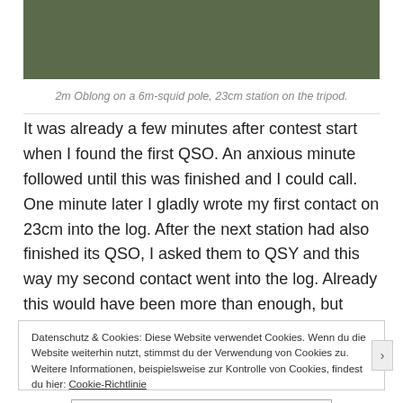[Figure (photo): Outdoor photo showing radio equipment including an oblong antenna on a squid pole and a station on a tripod, set on grass.]
2m Oblong on a 6m-squid pole, 23cm station on the tripod.
It was already a few minutes after contest start when I found the first QSO. An anxious minute followed until this was finished and I could call. One minute later I gladly wrote my first contact on 23cm into the log. After the next station had also finished its QSO, I asked them to QSY and this way my second contact went into the log. Already this would have been more than enough, but what followed, I would not have dared to
Datenschutz & Cookies: Diese Website verwendet Cookies. Wenn du die Website weiterhin nutzt, stimmst du der Verwendung von Cookies zu. Weitere Informationen, beispielsweise zur Kontrolle von Cookies, findest du hier: Cookie-Richtlinie
Schließen und Akzeptieren